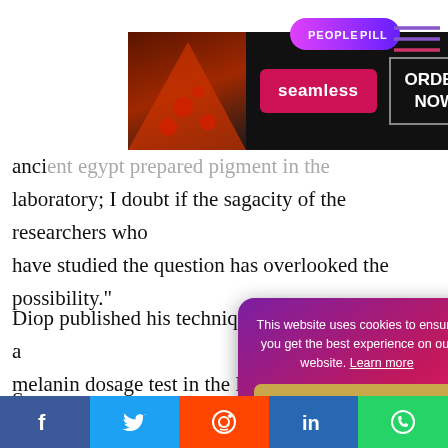[Figure (screenshot): Advertisement banner for Seamless food delivery with pizza image on left, Seamless logo in center, ORDER NOW button on right, on dark background]
[Figure (screenshot): People Pill navigation tab and hamburger menu icon in top right corner]
ancient laboratory; I doubt if the sagacity of the researchers who have studied the question has overlooked the possibility."
Diop published his technique and methodology for a melanin dosage test in the Bulletin of Institut Fondamental entitled "La p par la mélani determine th to .
Som
[Figure (screenshot): Cookie consent overlay with purple-to-pink gradient background reading: This website uses cookies to ensure you get the best experience on our website. Learn more. Got it! button.]
[Figure (screenshot): Social media sharing bar at bottom with Facebook, Twitter, Reddit, LinkedIn, and WhatsApp buttons]